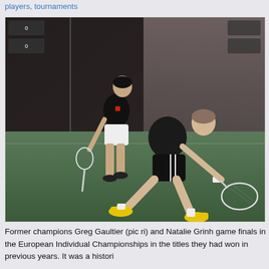players, tournaments
[Figure (photo): Two squash players competing on an indoor squash court. The foreground player in dark clothing with yellow shoes lunges low to reach a shot, while a second player in black shirt and white shorts stands behind. An audience is visible in the background.]
Former champions Greg Gaultier (pic ri) and Natalie Grinh game finals in the European Individual Championships in the titles they had won in previous years. It was a histori